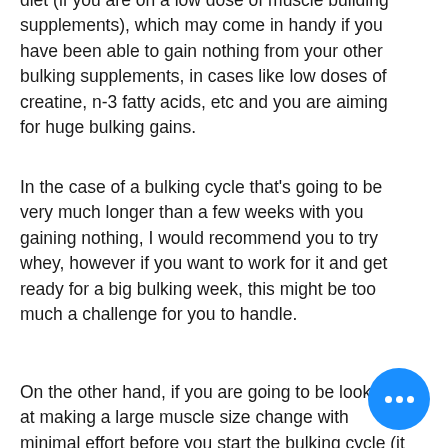diet (if you are on a low dose of muscle building supplements), which may come in handy if you have been able to gain nothing from your other bulking supplements, in cases like low doses of creatine, n-3 fatty acids, etc and you are aiming for huge bulking gains.
In the case of a bulking cycle that's going to be very much longer than a few weeks with you gaining nothing, I would recommend you to try whey, however if you want to work for it and get ready for a big bulking week, this might be too much a challenge for you to handle.
On the other hand, if you are going to be looking at making a large muscle size change with minimal effort before you start the bulking cycle (it is not an overnight process), whey is definitely the way to crazy bulk anadrol.